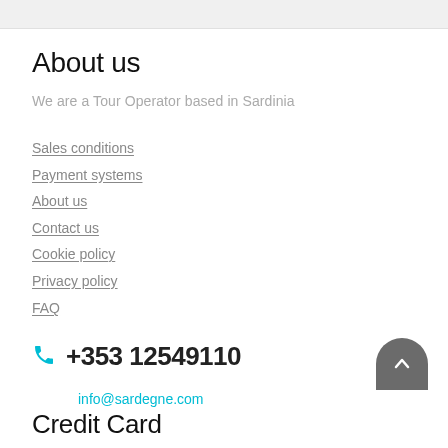About us
We are a Tour Operator based in Sardinia
Sales conditions
Payment systems
About us
Contact us
Cookie policy
Privacy policy
FAQ
+353 12549110
info@sardegne.com
Credit Card